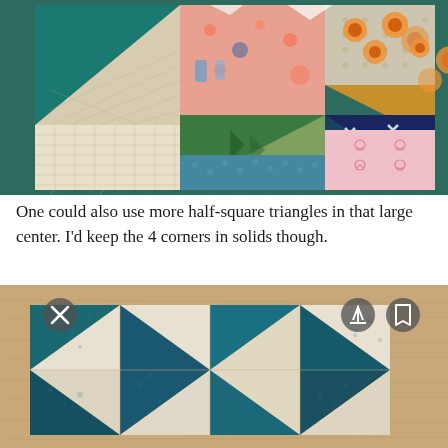[Figure (photo): Colorful quilt fabric pieces arranged on a green cutting mat, showing various patterns including half-square triangles, florals, geometric prints, and solid fabrics in teal, pink, green, navy, gold, and cream colors.]
One could also use more half-square triangles in that large center. I'd keep the 4 corners in solids though.
[Figure (photo): A quilt block made of half-square triangles in teal/dark blue and cream/white fabrics arranged in a pinwheel or hourglass pattern, photographed on a wood surface. The image has overlay buttons (close X, share, and bookmark) visible.]